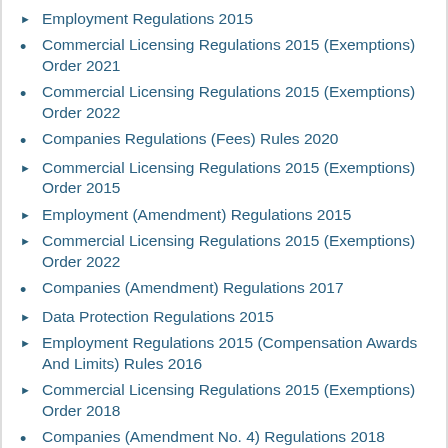Employment Regulations 2015
Commercial Licensing Regulations 2015 (Exemptions) Order 2021
Commercial Licensing Regulations 2015 (Exemptions) Order 2022
Companies Regulations (Fees) Rules 2020
Commercial Licensing Regulations 2015 (Exemptions) Order 2015
Employment (Amendment) Regulations 2015
Commercial Licensing Regulations 2015 (Exemptions) Order 2022
Companies (Amendment) Regulations 2017
Data Protection Regulations 2015
Employment Regulations 2015 (Compensation Awards And Limits) Rules 2016
Commercial Licensing Regulations 2015 (Exemptions) Order 2018
Companies (Amendment No. 4) Regulations 2018
Employment Regulations 2018 (Freezing Non-